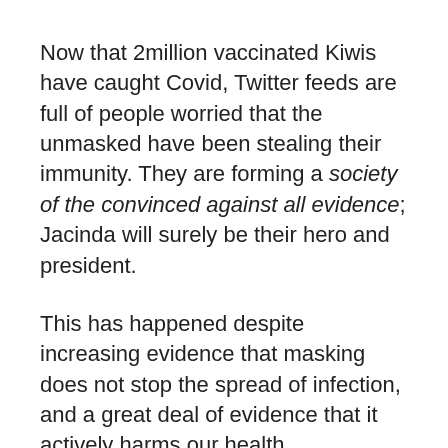Now that 2million vaccinated Kiwis have caught Covid, Twitter feeds are full of people worried that the unmasked have been stealing their immunity. They are forming a society of the convinced against all evidence; Jacinda will surely be their hero and president.
This has happened despite increasing evidence that masking does not stop the spread of infection, and a great deal of evidence that it actively harms our health.
A recent study of mask wearing in Finland concluded: 'According to our analysis, no additional effect seemed to be gained [from mask wearing], based on comparisons between the cities and between the age groups of unvaccinated children.'
It appears to me that science sprinkled on the media is like